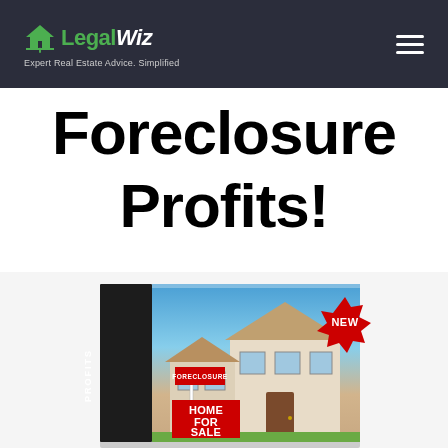LegalWiz — Expert Real Estate Advice. Simplified
Foreclosure Profits!
[Figure (photo): Product box image for 'Foreclosure Profits!' showing a house with a foreclosure sign and 'HOME FOR SALE' sign, with a red 'NEW' starburst badge in the top right corner. The box has a dark spine with text 'FORECLOSURE PROFITS' written vertically.]